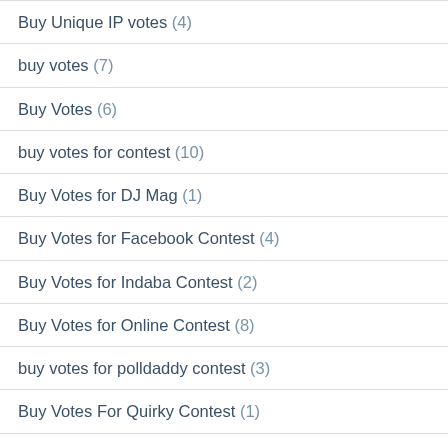Buy Unique IP votes (4)
buy votes (7)
Buy Votes (6)
buy votes for contest (10)
Buy Votes for DJ Mag (1)
Buy Votes for Facebook Contest (4)
Buy Votes for Indaba Contest (2)
Buy Votes for Online Contest (8)
buy votes for polldaddy contest (3)
Buy Votes For Quirky Contest (1)
Buy Votes for Talenthouse Contest (1)
Buy Votes For Wayo (3)